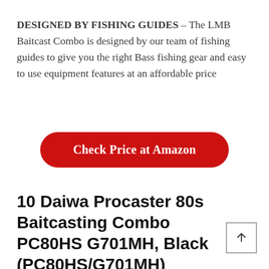DESIGNED BY FISHING GUIDES – The LMB Baitcast Combo is designed by our team of fishing guides to give you the right Bass fishing gear and easy to use equipment features at an affordable price
[Figure (other): Red rounded button labeled 'Check Price at Amazon']
10 Daiwa Procaster 80s Baitcasting Combo PC80HS G701MH, Black (PC80HS/G701MH)